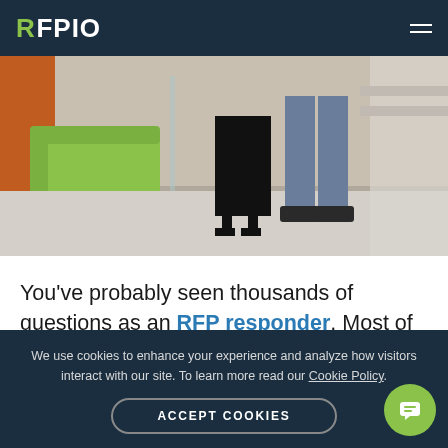RFPIO
[Figure (photo): Two people standing in a modern office space with green furniture visible in the background. Only their legs and lower bodies are visible.]
You've probably seen thousands of questions as an RFP responder. Most of them are "the usual" and you respond without hesitation. But every now and then, something comes along that makes you question the
We use cookies to enhance your experience and analyze how visitors interact with our site. To learn more read our Cookie Policy.
ACCEPT COOKIES